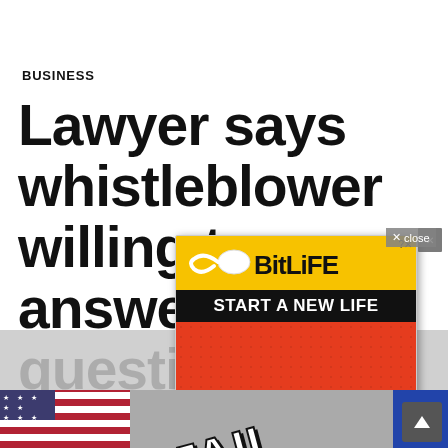BUSINESS
Lawyer says whistleblower willing to answer written questions from Republicans, CNN
Views
[Figure (screenshot): BitLife mobile game advertisement popup showing 'START A NEW LIFE' and 'FAIL' text with animated cartoon character covering face, overlaid on news article. Close button in upper right.]
[Figure (photo): Bottom strip showing American flag pattern on left and partial image on right, with scroll-up arrow button.]